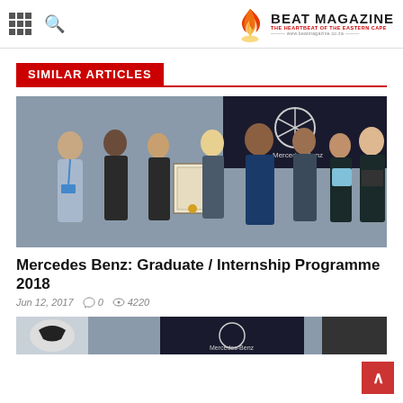BEAT MAGAZINE — THE HEARTBEAT OF THE EASTERN CAPE — www.beatmagazine.co.za
SIMILAR ARTICLES
[Figure (photo): Group of people standing in front of a Mercedes-Benz banner, one person holding a framed certificate/award]
Mercedes Benz: Graduate / Internship Programme 2018
Jun 12, 2017   0   4220
[Figure (photo): Partial view of another article image showing Mercedes-Benz branding]